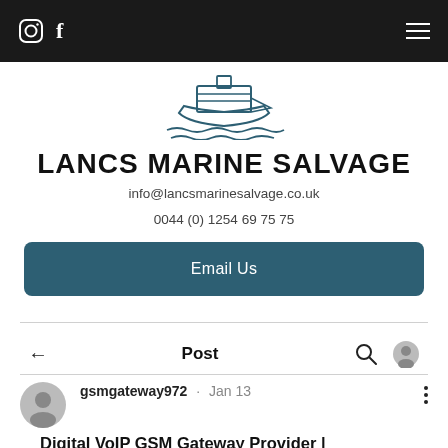Navigation bar with Instagram and Facebook icons, and hamburger menu
[Figure (logo): Lancs Marine Salvage ship/boat logo illustration in teal/navy outline style]
LANCS MARINE SALVAGE
info@lancsmarinesalvage.co.uk
0044 (0) 1254 69 75 75
Email Us
Post
gsmgateway972 · Jan 13
Digital VoIP GSM Gateway Provider |